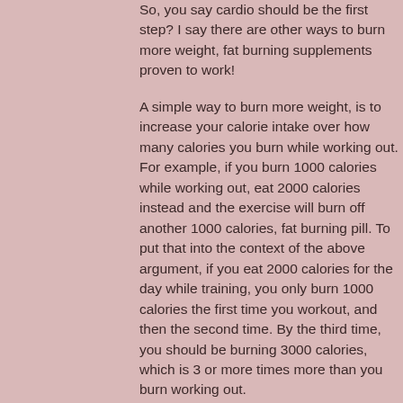So, you say cardio should be the first step? I say there are other ways to burn more weight, fat burning supplements proven to work!
A simple way to burn more weight, is to increase your calorie intake over how many calories you burn while working out. For example, if you burn 1000 calories while working out, eat 2000 calories instead and the exercise will burn off another 1000 calories, fat burning pill. To put that into the context of the above argument, if you eat 2000 calories for the day while training, you only burn 1000 calories the first time you workout, and then the second time. By the third time, you should be burning 3000 calories, which is 3 or more times more than you burn working out.
In addition to exercising, your calorie intake should also increase gradually. For example,